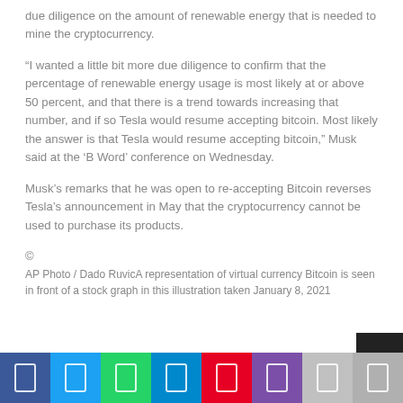due diligence on the amount of renewable energy that is needed to mine the cryptocurrency.
“I wanted a little bit more due diligence to confirm that the percentage of renewable energy usage is most likely at or above 50 percent, and that there is a trend towards increasing that number, and if so Tesla would resume accepting bitcoin. Most likely the answer is that Tesla would resume accepting bitcoin,” Musk said at the ‘B Word’ conference on Wednesday.
Musk’s remarks that he was open to re-accepting Bitcoin reverses Tesla’s announcement in May that the cryptocurrency cannot be used to purchase its products.
©
AP Photo / Dado RuvicA representation of virtual currency Bitcoin is seen in front of a stock graph in this illustration taken January 8, 2021